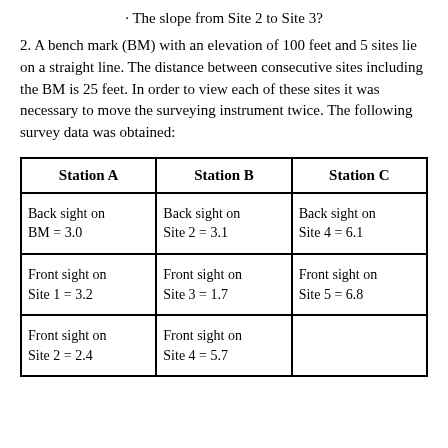· The slope from Site 2 to Site 3?
2. A bench mark (BM) with an elevation of 100 feet and 5 sites lie on a straight line. The distance between consecutive sites including the BM is 25 feet. In order to view each of these sites it was necessary to move the surveying instrument twice. The following survey data was obtained:
| Station A | Station B | Station C |
| --- | --- | --- |
| Back sight on BM = 3.0 | Back sight on Site 2 = 3.1 | Back sight on Site 4 = 6.1 |
| Front sight on Site 1 = 3.2 | Front sight on Site 3 = 1.7 | Front sight on Site 5 = 6.8 |
| Front sight on Site 2 = 2.4 | Front sight on Site 4 = 5.7 |  |